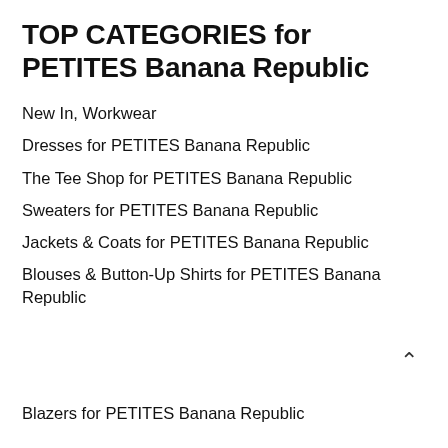TOP CATEGORIES for PETITES Banana Republic
New In, Workwear
Dresses for PETITES Banana Republic
The Tee Shop for PETITES Banana Republic
Sweaters for PETITES Banana Republic
Jackets & Coats for PETITES Banana Republic
Blouses & Button-Up Shirts for PETITES Banana Republic
Blazers for PETITES Banana Republic